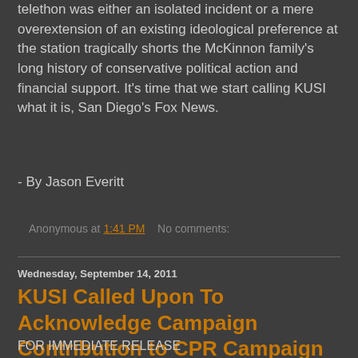telethon was either an isolated incident or a mere overextension of an existing ideological preference at the station tragically shorts the McKinnon family's long history of conservative political action and financial support. It's time that we start calling KUSI what it is, San Diego's Fox News.
- By Jason Everitt
Anonymous at 1:41 PM   No comments:
Wednesday, September 14, 2011
KUSI Called Upon To Acknowledge Campaign Contribution to CPR Campaign
FOR IMMEDIATE RELEASE
Contact: Evan McLaughlin
Cell #: 619-850-2790